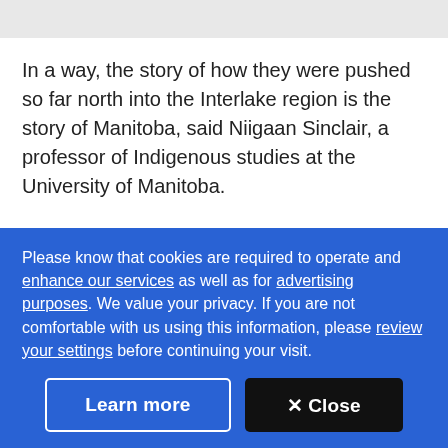In a way, the story of how they were pushed so far north into the Interlake region is the story of Manitoba, said Niigaan Sinclair, a professor of Indigenous studies at the University of Manitoba.
"You can map Manitoba by the removals of Indigenous peoples. So the story of Peguis is unfortunately not
Please know that cookies are required to operate and enhance our services as well as for advertising purposes. We value your privacy. If you are not comfortable with us using this information, please review your settings before continuing your visit.
Learn more
✕ Close